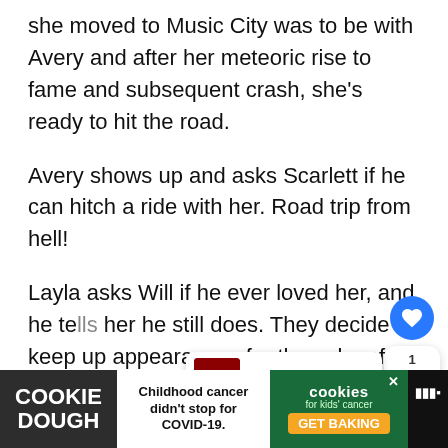she moved to Music City was to be with Avery and after her meteoric rise to fame and subsequent crash, she’s ready to hit the road.
Avery shows up and asks Scarlett if he can hitch a ride with her. Road trip from hell!
Layla asks Will if he ever loved her, and he tells her he still does. They decide to keep up appearances for the sake of their re...
Things are strained between Teddy and Mo...